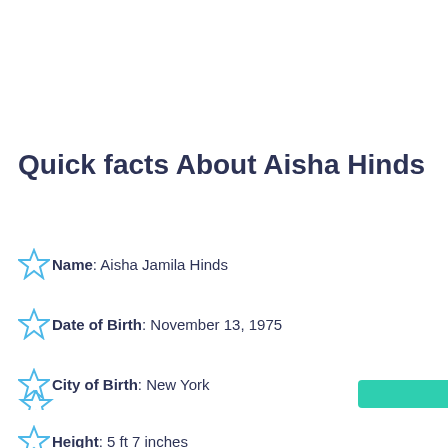Quick facts About Aisha Hinds
Name: Aisha Jamila Hinds
Date of Birth: November 13, 1975
City of Birth: New York
Height: 5 ft 7 inches